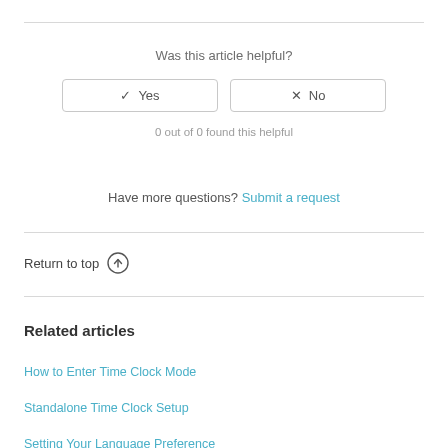Was this article helpful?
✓ Yes   ✗ No
0 out of 0 found this helpful
Have more questions? Submit a request
Return to top ↑
Related articles
How to Enter Time Clock Mode
Standalone Time Clock Setup
Setting Your Language Preference